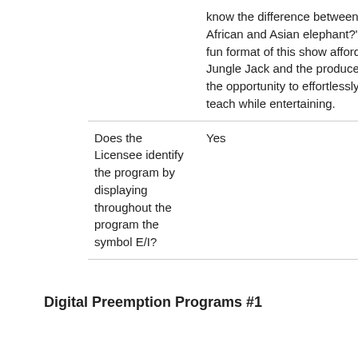| Questions | Response |
| --- | --- |
|  | know the difference between an African and Asian elephant?" The fun format of this show affords Jungle Jack and the producers the opportunity to effortlessly teach while entertaining. |
| Does the Licensee identify the program by displaying throughout the program the symbol E/I? | Yes |
Digital Preemption Programs #1
| Questions | Response |
| --- | --- |